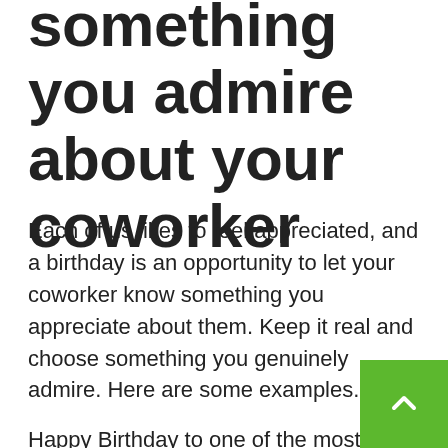something you admire about your coworker
Each of us likes to feel appreciated, and a birthday is an opportunity to let your coworker know something you appreciate about them. Keep it real and choose something you genuinely admire. Here are some examples.
Happy Birthday to one of the most productive people around here! Someday you'll have to teach us your secret to getting so much done.
Happy Birthday to one of the most smiley people in